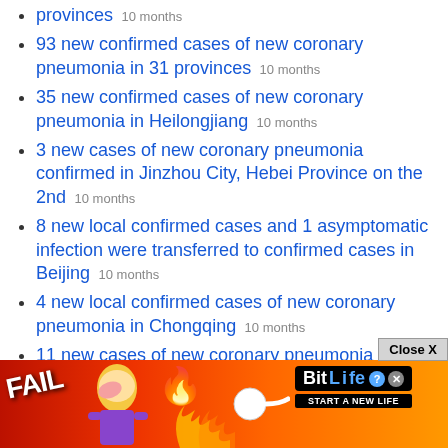provinces 10 months
93 new confirmed cases of new coronary pneumonia in 31 provinces 10 months
35 new confirmed cases of new coronary pneumonia in Heilongjiang 10 months
3 new cases of new coronary pneumonia confirmed in Jinzhou City, Hebei Province on the 2nd 10 months
8 new local confirmed cases and 1 asymptomatic infection were transferred to confirmed cases in Beijing 10 months
4 new local confirmed cases of new coronary pneumonia in Chongqing 10 months
11 new cases of new coronary pneumonia confirmed yesterday in Shenze County, Hebei 10 months
14 new confirmed cases of new coronavirus pneumonia in Hebei are in Shijiazhuang City 10 months
One new local confirmed case of new coronary pneumonia ... gba D... 10 months
[Figure (screenshot): BitLife advertisement overlay at the bottom of the page showing a FAIL text, cartoon character, flames, and 'START A NEW LIFE' tagline with a Close X button]